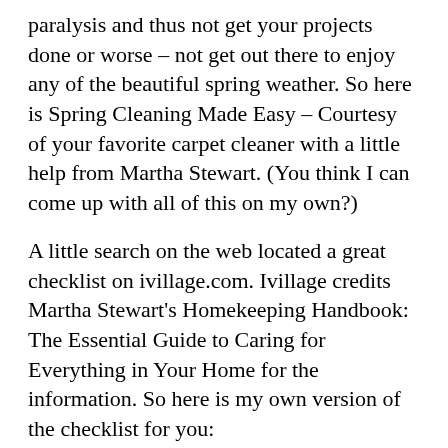paralysis and thus not get your projects done or worse – not get out there to enjoy any of the beautiful spring weather.  So here is Spring Cleaning Made Easy – Courtesy of your favorite carpet cleaner with a little help from Martha Stewart.  (You think I can come up with all of this on my own?)
A little search on the web located a great checklist on ivillage.com.  Ivillage credits Martha Stewart's Homekeeping Handbook: The Essential Guide to Caring for Everything in Your Home for the information.  So here is my own version of the checklist for you:
Kitchen: Living Room:
☐  Vacuum refrigerator and coil ☐  Rotate out winter rugs & throws for summer ones
☐  Wipe out the inside of the freezer & fridge ☐